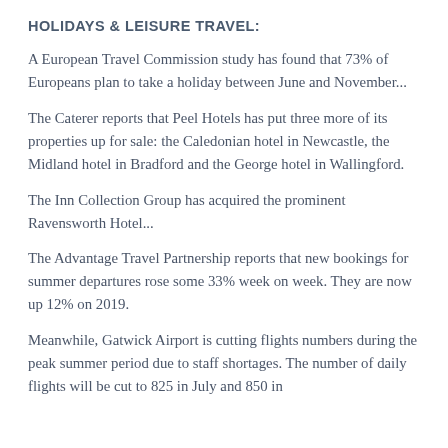HOLIDAYS & LEISURE TRAVEL:
A European Travel Commission study has found that 73% of Europeans plan to take a holiday between June and November...
The Caterer reports that Peel Hotels has put three more of its properties up for sale: the Caledonian hotel in Newcastle, the Midland hotel in Bradford and the George hotel in Wallingford.
The Inn Collection Group has acquired the prominent Ravensworth Hotel...
The Advantage Travel Partnership reports that new bookings for summer departures rose some 33% week on week. They are now up 12% on 2019.
Meanwhile, Gatwick Airport is cutting flights numbers during the peak summer period due to staff shortages. The number of daily flights will be cut to 825 in July and 850 in